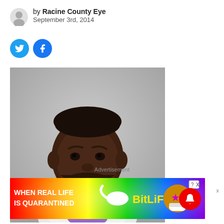by Racine County Eye
September 3rd, 2014
[Figure (photo): Mugshot of a man with a beard wearing a white shirt, against a gray background]
Advertisement
[Figure (screenshot): BitLife advertisement banner with rainbow background reading WHEN REAL LIFE IS QUARANTINED with BitLife logo and mascot characters]